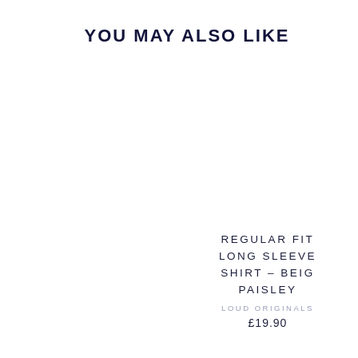YOU MAY ALSO LIKE
REGULAR FIT LONG SLEEVE SHIRT – BEIGE PAISLEY
LOUD ORIGINALS
£19.90